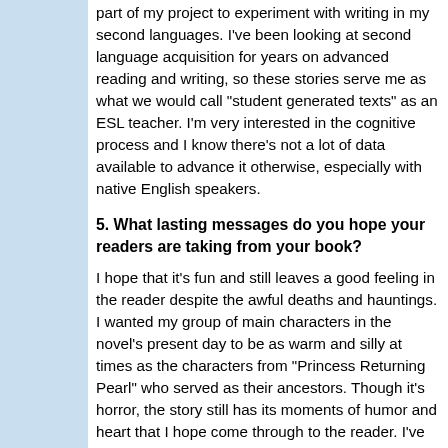part of my project to experiment with writing in my second languages. I've been looking at second language acquisition for years on advanced reading and writing, so these stories serve me as what we would call "student generated texts" as an ESL teacher. I'm very interested in the cognitive process and I know there's not a lot of data available to advance it otherwise, especially with native English speakers.
5. What lasting messages do you hope your readers are taking away from your book?
I hope that it's fun and still leaves a good feeling in the reader despite the awful deaths and hauntings. I wanted my group of main characters in the novel's present day to be as warm and silly at times as the historical characters from "Princess Returning Pearl" who served as their ancestors and friends. Though it's horror, the story still has its moments of humor and heart that I hope come through to the reader. I've taken to calling the type of horror I write "transcendent horror," because I want the story to reflect the mystical side of the hauntings, which sometimes puts it more in the genre of straight fantasy, as well as give the reader something to feel uplifted by the end.
6. What advice do you have for struggling writers?
I would recommend just spending some time working on the nuts and bolts of writing. Many years ago, I went through a phase where I